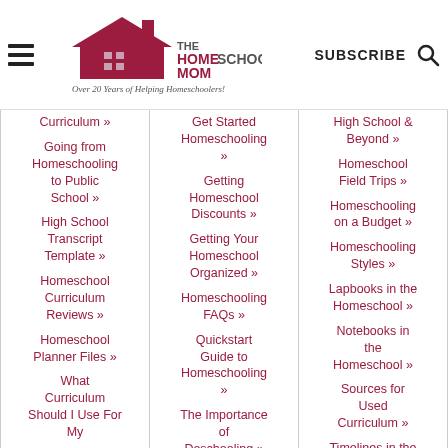THE HOMESCHOOL MOM — Over 20 Years of Helping Homeschoolers! | SUBSCRIBE | Search
Curriculum »
Going from Homeschooling to Public School »
High School Transcript Template »
Homeschool Curriculum Reviews »
Homeschool Planner Files »
What Curriculum Should I Use For My
Preschooler? »
What to Use Instead of
Get Started Homeschooling »
Getting Homeschool Discounts »
Getting Your Homeschool Organized »
Homeschooling FAQs »
Quickstart Guide to Homeschooling »
The Importance of Deschooling »
What About Socialization »
High School & Beyond »
Homeschool Field Trips »
Homeschooling on a Budget »
Homeschooling Styles »
Lapbooks in the Homeschool »
Notebooks in the Homeschool »
Sources for Used Curriculum »
Timelines in the Homeschool »